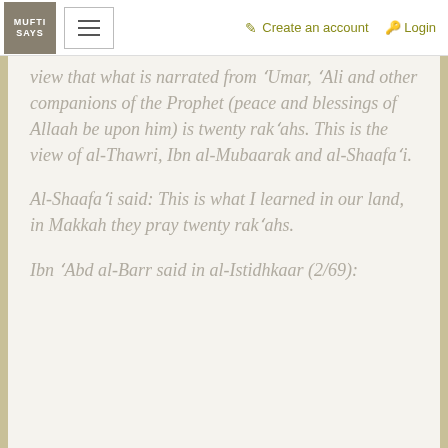Mufti Says | Create an account | Login
view that what is narrated from 'Umar, 'Ali and other companions of the Prophet (peace and blessings of Allaah be upon him) is twenty rak'ahs. This is the view of al-Thawri, Ibn al-Mubaarak and al-Shaafa'i.
Al-Shaafa'i said: This is what I learned in our land, in Makkah they pray twenty rak'ahs.
Ibn 'Abd al-Barr said in al-Istidhkaar (2/69):